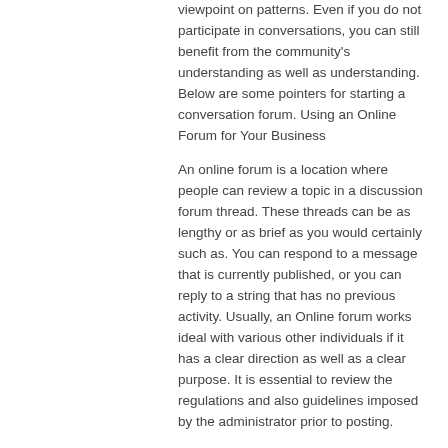viewpoint on patterns. Even if you do not participate in conversations, you can still benefit from the community's understanding as well as understanding. Below are some pointers for starting a conversation forum. Using an Online Forum for Your Business
An online forum is a location where people can review a topic in a discussion forum thread. These threads can be as lengthy or as brief as you would certainly such as. You can respond to a message that is currently published, or you can reply to a string that has no previous activity. Usually, an Online forum works ideal with various other individuals if it has a clear direction as well as a clear purpose. It is essential to review the regulations and also guidelines imposed by the administrator prior to posting.